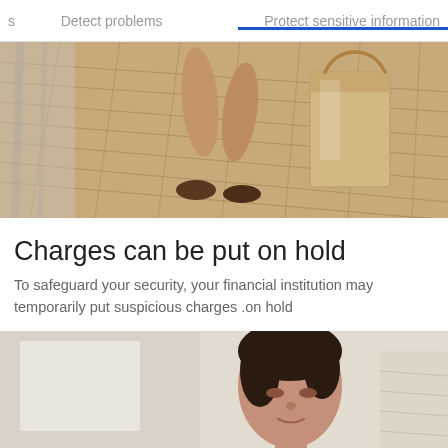s   Detect problems   Protect sensitive information
[Figure (photo): Close-up of a person's legs from the knees down walking on a wooden deck floor, carrying a shopping bag]
Charges can be put on hold
To safeguard your security, your financial institution may temporarily put suspicious charges .on hold
[Figure (photo): Young woman with dark hair looking downward, wearing a yellow top, photographed indoors]